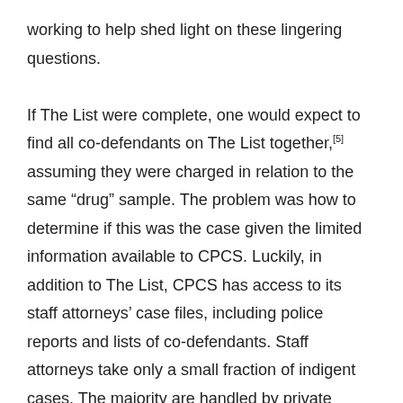working to help shed light on these lingering questions.

If The List were complete, one would expect to find all co-defendants on The List together,[5] assuming they were charged in relation to the same “drug” sample. The problem was how to determine if this was the case given the limited information available to CPCS. Luckily, in addition to The List, CPCS has access to its staff attorneys’ case files, including police reports and lists of co-defendants. Staff attorneys take only a small fraction of indigent cases. The majority are handled by private attorneys. So only a subset of defendants on The List would be in our client files. However, given The List contained nearly 40,000 names, this subset was still rather sizable. So we used some nice open source software to look for matches between our clients’ names and those found on the list (this involved some data